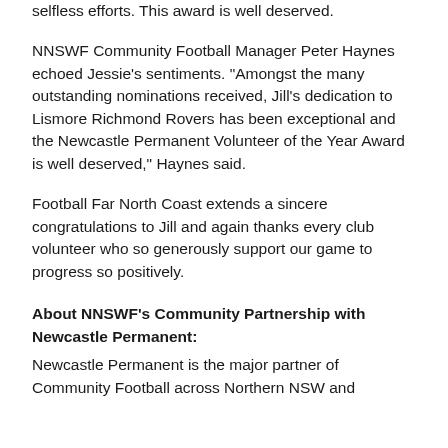selfless efforts. This award is well deserved.
NNSWF Community Football Manager Peter Haynes echoed Jessie’s sentiments. “Amongst the many outstanding nominations received, Jill’s dedication to Lismore Richmond Rovers has been exceptional and the Newcastle Permanent Volunteer of the Year Award is well deserved,” Haynes said.
Football Far North Coast extends a sincere congratulations to Jill and again thanks every club volunteer who so generously support our game to progress so positively.
About NNSWF’s Community Partnership with Newcastle Permanent:
Newcastle Permanent is the major partner of Community Football across Northern NSW and